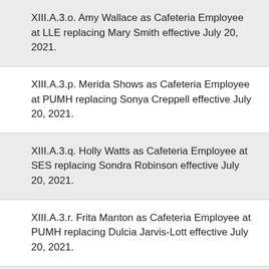XIII.A.3.o. Amy Wallace as Cafeteria Employee at LLE replacing Mary Smith effective July 20, 2021.
XIII.A.3.p. Merida Shows as Cafeteria Employee at PUMH replacing Sonya Creppell effective July 20, 2021.
XIII.A.3.q. Holly Watts as Cafeteria Employee at SES replacing Sondra Robinson effective July 20, 2021.
XIII.A.3.r. Frita Manton as Cafeteria Employee at PUMH replacing Dulcia Jarvis-Lott effective July 20, 2021.
XIII.A.3.s. Stephen Sweeney as 6 hour Bus Driver at Oak Grove effective July 19, 2021.